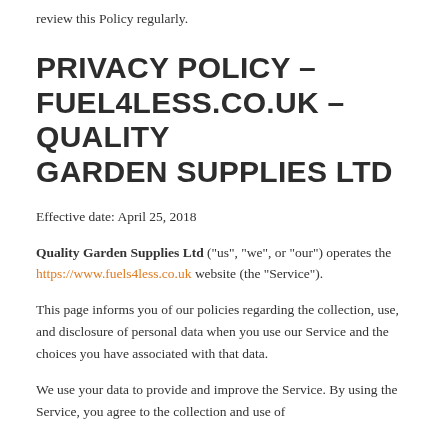review this Policy regularly.
PRIVACY POLICY – FUEL4LESS.CO.UK – QUALITY GARDEN SUPPLIES LTD
Effective date: April 25, 2018
Quality Garden Supplies Ltd ("us", "we", or "our") operates the https://www.fuels4less.co.uk website (the "Service").
This page informs you of our policies regarding the collection, use, and disclosure of personal data when you use our Service and the choices you have associated with that data.
We use your data to provide and improve the Service. By using the Service, you agree to the collection and use of